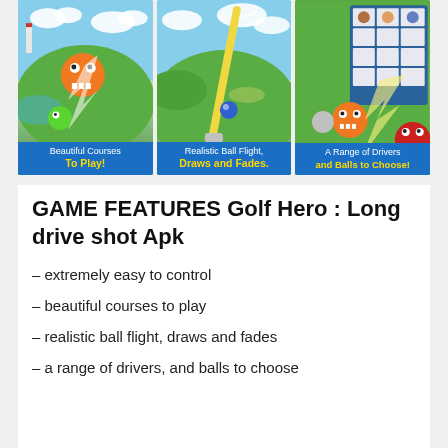[Figure (screenshot): Three mobile game screenshots showing: 1) Beautiful golf courses with cartoon monster ball, captioned 'Beautiful Courses To Play!'; 2) Golf ball flight with drawing, captioned 'Realistic Ball Flight, Draws and Fades.'; 3) Grid of drivers and balls available, captioned 'A Range of Drivers and Balls to Choose!']
GAME FEATURES Golf Hero : Long drive shot Apk
– extremely easy to control
– beautiful courses to play
– realistic ball flight, draws and fades
– a range of drivers, and balls to choose